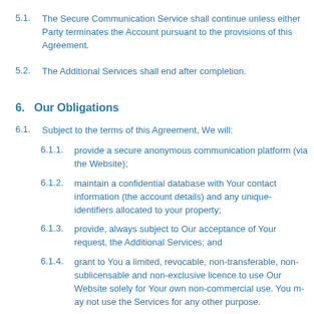5.1. The Secure Communication Service shall continue unless either Party terminates the Account pursuant to the provisions of this Agreement.
5.2. The Additional Services shall end after completion.
6. Our Obligations
6.1. Subject to the terms of this Agreement, We will:
6.1.1. provide a secure anonymous communication platform (via the Website);
6.1.2. maintain a confidential database with Your contact information (the account details) and any unique identifiers allocated to your property;
6.1.3. provide, always subject to Our acceptance of Your request, the Additional Services; and
6.1.4. grant to You a limited, revocable, non-transferable, non-sublicensable and non-exclusive licence to use Our Website solely for Your own non-commercial use. You may not use the Services for any other purpose.